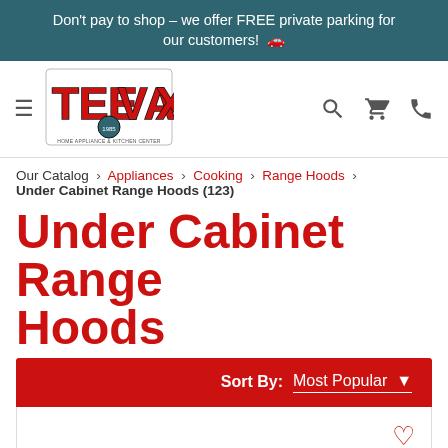Don't pay to shop – we offer FREE private parking for our customers! 🚗
[Figure (logo): TeeVax Home Appliance & Kitchen Center logo with red stylized text and badge]
Our Catalog › Appliances › Cooking › Range Hoods › Under Cabinet Range Hoods (123)
Under Cabinet Range Hoods
Sort By: Most Popular ▾
FILTER & SORT